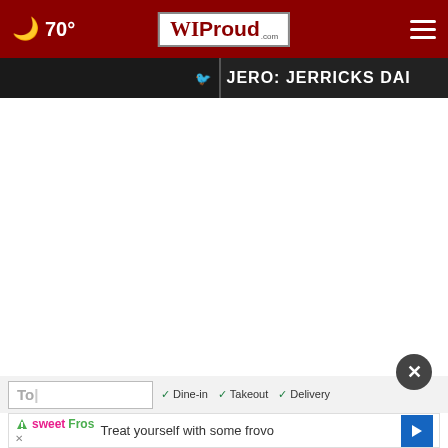70° WIProud.com
[Figure (screenshot): Dark strip with partial text visible: twitter icon on left panel, 'JERO: JERRICKS DAI' text on right panel in white uppercase on dark background]
[Figure (screenshot): White content area (main page body, mostly blank/loading)]
[Figure (screenshot): Close button (X) dark circle]
[Figure (screenshot): Bottom bar with 'To|' text input, filter options: Dine-in, Takeout, Delivery]
[Figure (screenshot): Ad banner: sweetFros logo, X close button, 'Treat yourself with some frovo' text, blue arrow navigation button]